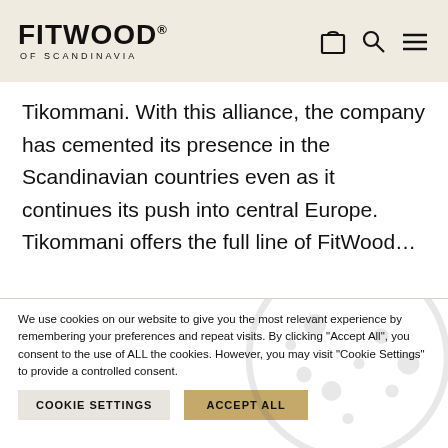FITWOOD OF SCANDINAVIA
Tikommani. With this alliance, the company has cemented its presence in the Scandinavian countries even as it continues its push into central Europe. Tikommani offers the full line of FitWood...
We use cookies on our website to give you the most relevant experience by remembering your preferences and repeat visits. By clicking “Accept All”, you consent to the use of ALL the cookies. However, you may visit "Cookie Settings" to provide a controlled consent.